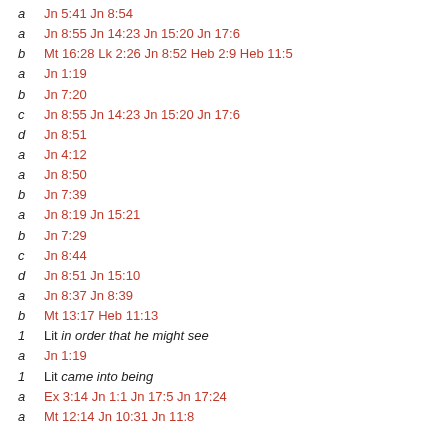a  Jn 5:41 Jn 8:54
a  Jn 8:55 Jn 14:23 Jn 15:20 Jn 17:6
b  Mt 16:28 Lk 2:26 Jn 8:52 Heb 2:9 Heb 11:5
a  Jn 1:19
b  Jn 7:20
c  Jn 8:55 Jn 14:23 Jn 15:20 Jn 17:6
d  Jn 8:51
a  Jn 4:12
a  Jn 8:50
b  Jn 7:39
a  Jn 8:19 Jn 15:21
b  Jn 7:29
c  Jn 8:44
d  Jn 8:51 Jn 15:10
a  Jn 8:37 Jn 8:39
b  Mt 13:17 Heb 11:13
1  Lit in order that he might see
a  Jn 1:19
1  Lit came into being
a  Ex 3:14 Jn 1:1 Jn 17:5 Jn 17:24
a  Mt 12:14 Jn 10:31 Jn 11:8